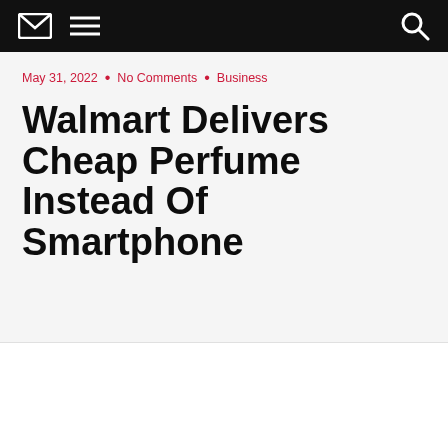navigation bar with email, menu, and search icons
May 31, 2022 • No Comments • Business
Walmart Delivers Cheap Perfume Instead Of Smartphone